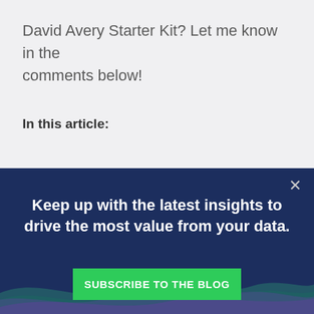David Avery Starter Kit? Let me know in the comments below!
In this article:
[Figure (infographic): Dark navy blue promotional banner with close (X) button, headline text 'Keep up with the latest insights to drive the most value from your data.', decorative wave lines in teal/purple at bottom, and a green 'SUBSCRIBE TO THE BLOG' button.]